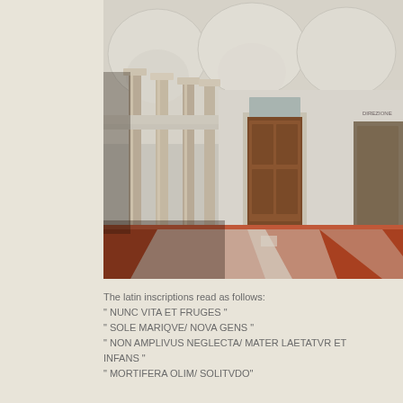[Figure (photo): Interior of a neoclassical building with tall marble columns, vaulted arched ceilings, wooden doors, and a terracotta-tiled floor with geometric inlay patterns.]
The latin inscriptions read as follows:
" NUNC VITA ET FRUGES "
" SOLE MARIQVE/ NOVA GENS "
" NON AMPLIVUS NEGLECTA/ MATER LAETATVR ET INFANS "
" MORTIFERA OLIM/ SOLITVDO"